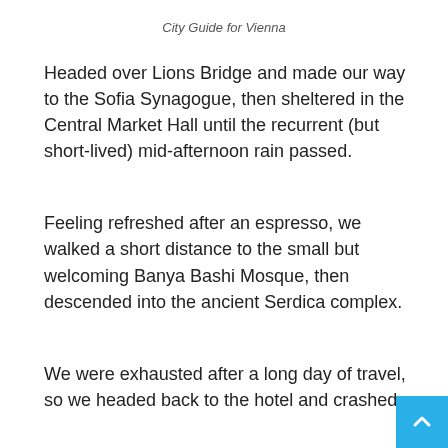City Guide for Vienna
Headed over Lions Bridge and made our way to the Sofia Synagogue, then sheltered in the Central Market Hall until the recurrent (but short-lived) mid-afternoon rain passed.
Feeling refreshed after an espresso, we walked a short distance to the small but welcoming Banya Bashi Mosque, then descended into the ancient Serdica complex.
We were exhausted after a long day of travel, so we headed back to the hotel and crashed.
I had low expectations about Sofia as a city, but after the walking tour I absolutely loved the place. This was an easy city to navigate, and it was a beautiful city – despite its ug staunch and stolid communist-built surrounds. Sofia has a